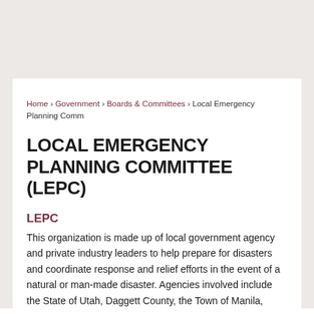Home › Government › Boards & Committees › Local Emergency Planning Comm
LOCAL EMERGENCY PLANNING COMMITTEE (LEPC)
LEPC
This organization is made up of local government agency and private industry leaders to help prepare for disasters and coordinate response and relief efforts in the event of a natural or man-made disaster. Agencies involved include the State of Utah, Daggett County, the Town of Manila,